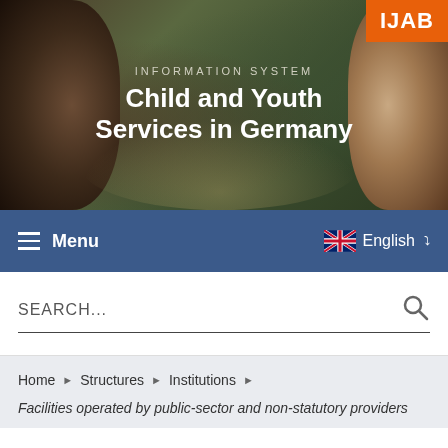[Figure (photo): Hero banner with two faces (one dark-skinned on left, one lighter-skinned on right) against a dark green/foliage background, with IJAB logo in orange top-right corner]
INFORMATION SYSTEM
Child and Youth Services in Germany
Menu   English
SEARCH...
Home ▶ Structures ▶ Institutions ▶
Facilities operated by public-sector and non-statutory providers